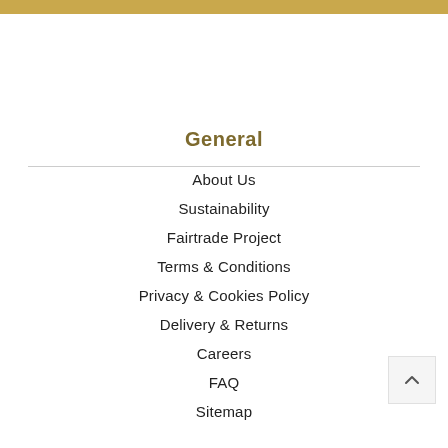General
About Us
Sustainability
Fairtrade Project
Terms & Conditions
Privacy & Cookies Policy
Delivery & Returns
Careers
FAQ
Sitemap